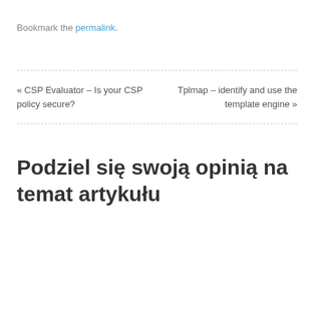Bookmark the permalink.
« CSP Evaluator – Is your CSP policy secure?
Tplmap – identify and use the template engine »
Podziel się swoją opinią na temat artykułu